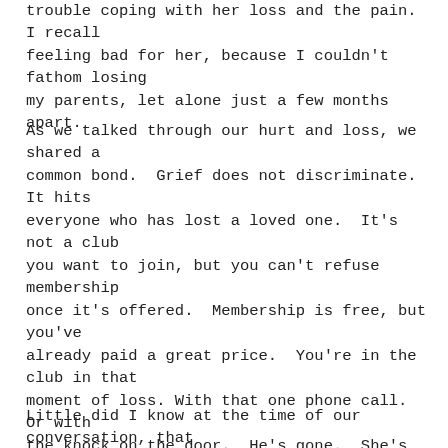trouble coping with her loss and the pain. I recall feeling bad for her, because I couldn't fathom losing my parents, let alone just a few months apart.
As we talked through our hurt and loss, we shared a common bond.  Grief does not discriminate.  It hits everyone who has lost a loved one.  It's not a club you want to join, but you can't refuse membership once it's offered.  Membership is free, but you've already paid a great price.  You're in the club in that moment of loss. With that one phone call.  Or with the knock on the door.  He's gone.  She's not going to make it through the night.  The test results are in, and it doesn't look good.  There's been an accident, and there are no survivors.
Little did I know at the time of our conversation, that